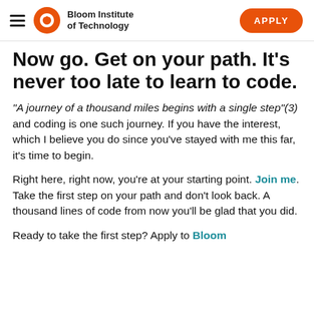Bloom Institute of Technology | APPLY
Now go. Get on your path. It's never too late to learn to code.
“A journey of a thousand miles begins with a single step”(3) and coding is one such journey. If you have the interest, which I believe you do since you’ve stayed with me this far, it’s time to begin.
Right here, right now, you’re at your starting point. Join me. Take the first step on your path and don’t look back. A thousand lines of code from now you’ll be glad that you did.
Ready to take the first step? Apply to Bloom